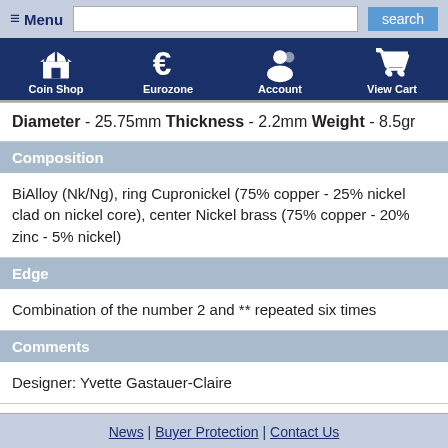Menu | search
[Figure (infographic): Navigation icon bar with Coin Shop, Eurozone, Account, and View Cart icons on dark blue background]
Diameter - 25.75mm Thickness - 2.2mm Weight - 8.5gr
Composition
BiAlloy (Nk/Ng), ring Cupronickel (75% copper - 25% nickel clad on nickel core), center Nickel brass (75% copper - 20% zinc - 5% nickel)
Edge
Combination of the number 2 and ** repeated six times
Comments
Designer: Yvette Gastauer-Claire
News | Buyer Protection | Contact Us